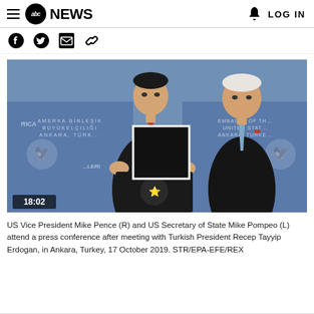abc NEWS  LOG IN
[Figure (logo): ABC News logo with hamburger menu icon on left and bell icon with LOG IN text on right]
[Figure (photo): US Vice President Mike Pence (R) and US Secretary of State Mike Pompeo (L) at a press conference podium with US Embassy backdrop in Ankara, Turkey. A black redaction box is overlaid on Pompeo's chest area. Timestamp 18:02 shown in lower left.]
US Vice President Mike Pence (R) and US Secretary of State Mike Pompeo (L) attend a press conference after meeting with Turkish President Recep Tayyip Erdogan, in Ankara, Turkey, 17 October 2019. STR/EPA-EFE/REX